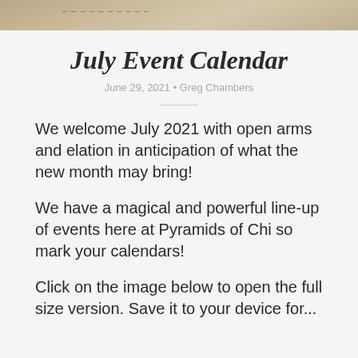[Figure (photo): Header photo strip showing a sepia/tan colored image, likely of a landscape or architectural scene, partially visible at the top of the page]
July Event Calendar
June 29, 2021 • Greg Chambers
We welcome July 2021 with open arms and elation in anticipation of what the new month may bring!
We have a magical and powerful line-up of events here at Pyramids of Chi so mark your calendars!
Click on the image below to open the full size version. Save it to your device for...